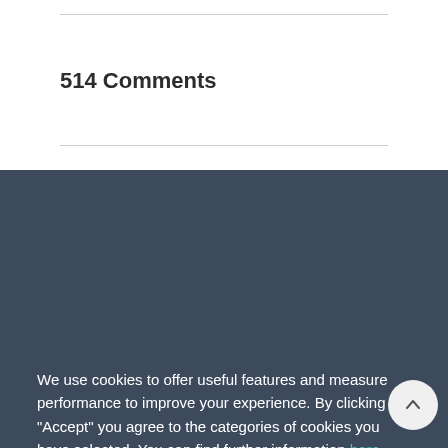514 Comments
We use cookies to offer useful features and measure performance to improve your experience. By clicking "Accept" you agree to the categories of cookies you have selected. You can find further information here.
Necessary (checked)
Analytics (checked)
More info
Accept Selected